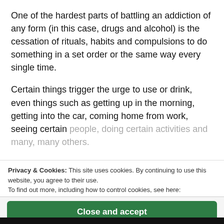One of the hardest parts of battling an addiction of any form (in this case, drugs and alcohol) is the cessation of rituals, habits and compulsions to do something in a set order or the same way every single time.
Certain things trigger the urge to use or drink, even things such as getting up in the morning, getting into the car, coming home from work, seeing certain people, doing certain activities and many, many others.
As ... and a part ... erpiece of our existence when our world becomes totally insular.
Privacy & Cookies: This site uses cookies. By continuing to use this website, you agree to their use. To find out more, including how to control cookies, see here: Cookie Policy
Close and accept